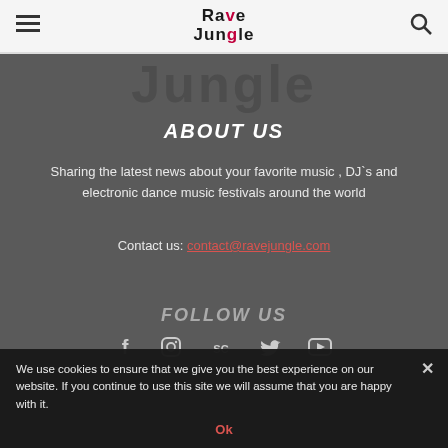Rave Jungle — navigation header with menu and search icons
[Figure (logo): Rave Jungle logo with red stylized letter elements]
[Figure (illustration): Watermark text 'Jungle' in large dark grey letters on dark background]
ABOUT US
Sharing the latest news about your favorite music , DJ`s and electronic dance music festivals around the world
Contact us: contact@ravejungle.com
FOLLOW US
[Figure (infographic): Social media icons: Facebook, Instagram, SoundCloud, Twitter, YouTube]
We use cookies to ensure that we give you the best experience on our website. If you continue to use this site we will assume that you are happy with it.
Ok